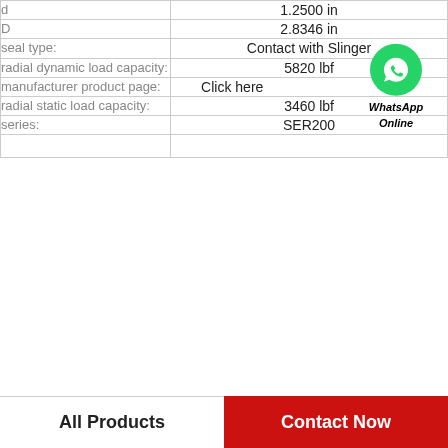| Property | Value |
| --- | --- |
| d | 1.2500 in |
| D | 2.8346 in |
| seal type: | Contact with Slinger |
| radial dynamic load capacity: | 5820 lbf |
| manufacturer product page: | Click here |
| radial static load capacity: | 3460 lbf |
| series: | SER200 |
|  |  |
All Products    Contact Now